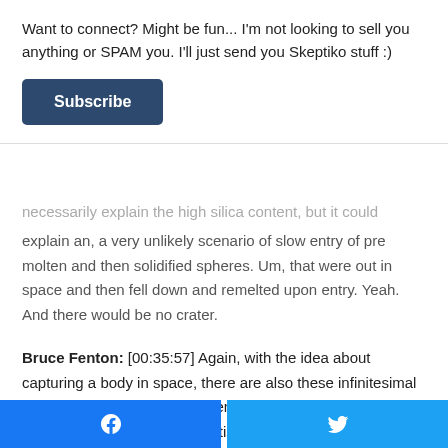Want to connect? Might be fun... I'm not looking to sell you anything or SPAM you. I'll just send you Skeptiko stuff :)
Subscribe
necessarily explain the high silica content, but it could explain an, a very unlikely scenario of slow entry of pre molten and then solidified spheres. Um, that were out in space and then fell down and remelted upon entry. Yeah. And there would be no crater.
Bruce Fenton: [00:35:57] Again, with the idea about capturing a body in space, there are also these infinitesimal small chances of things happening. But what we can look at there is that none of the scientists